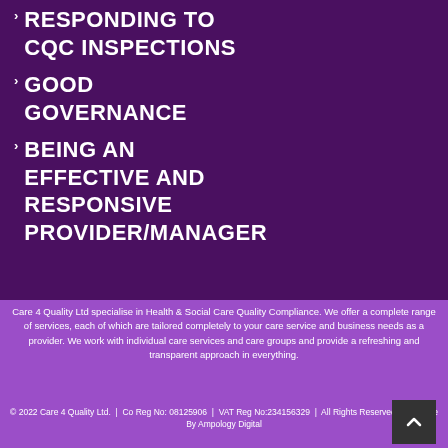RESPONDING TO CQC INSPECTIONS
GOOD GOVERNANCE
BEING AN EFFECTIVE AND RESPONSIVE PROVIDER/MANAGER
Care 4 Quality Ltd specialise in Health & Social Care Quality Compliance. We offer a complete range of services, each of which are tailored completely to your care service and business needs as a provider. We work with individual care services and care groups and provide a refreshing and transparent approach in everything.
© 2022 Care 4 Quality Ltd.  |  Co Reg No: 08125906  |  VAT Reg No:234156329  |  All Rights Reserved  |  Website By Ampology Digital